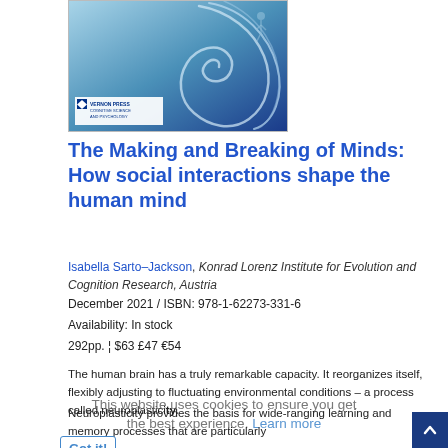[Figure (illustration): Book cover for 'The Making and Breaking of Minds' showing a blue abstract swirl/brain design with Vernon Press Cognitive Science and Psychology logo]
The Making and Breaking of Minds: How social interactions shape the human mind
Isabella Sarto–Jackson, Konrad Lorenz Institute for Evolution and Cognition Research, Austria
December 2021 / ISBN: 978-1-62273-331-6
Availability: In stock
292pp. ¦ $63 £47 €54
The human brain has a truly remarkable capacity. It reorganizes itself, flexibly adjusting to fluctuating environmental conditions – a process called neuroplasticity. Neuroplasticity provides the basis for wide-ranging learning and memory processes that are particularly profuse during childhood and adolescence. At the same time, the exceptional ma...